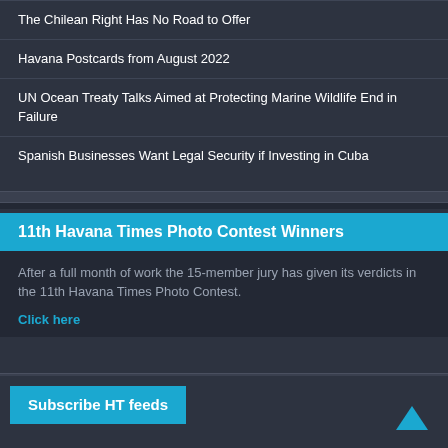The Chilean Right Has No Road to Offer
Havana Postcards from August 2022
UN Ocean Treaty Talks Aimed at Protecting Marine Wildlife End in Failure
Spanish Businesses Want Legal Security if Investing in Cuba
11th Havana Times Photo Contest Winners
After a full month of work the 15-member jury has given its verdicts in the 11th Havana Times Photo Contest.
Click here
Subscribe HT feeds